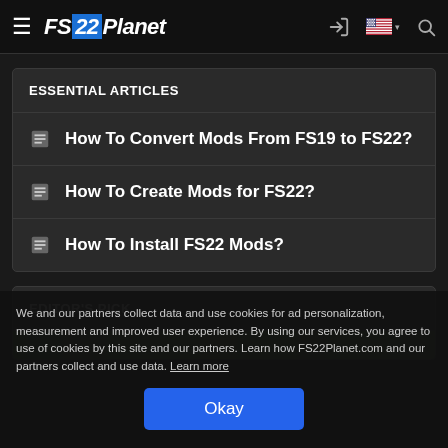FS22Planet
ESSENTIAL ARTICLES
How To Convert Mods From FS19 to FS22?
How To Create Mods for FS22?
How To Install FS22 Mods?
EDITOR'S PICK
We and our partners collect data and use cookies for ad personalization, measurement and improved user experience. By using our services, you agree to use of cookies by this site and our partners. Learn how FS22Planet.com and our partners collect and use data. Learn more
Okay